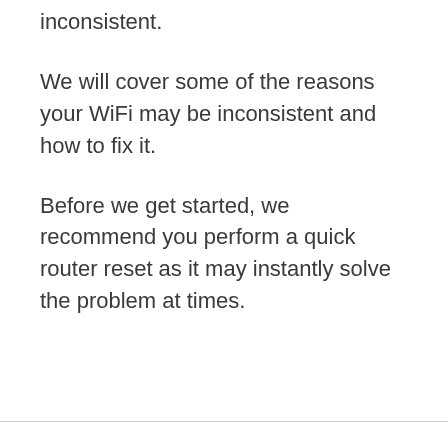inconsistent.
We will cover some of the reasons your WiFi may be inconsistent and how to fix it.
Before we get started, we recommend you perform a quick router reset as it may instantly solve the problem at times.